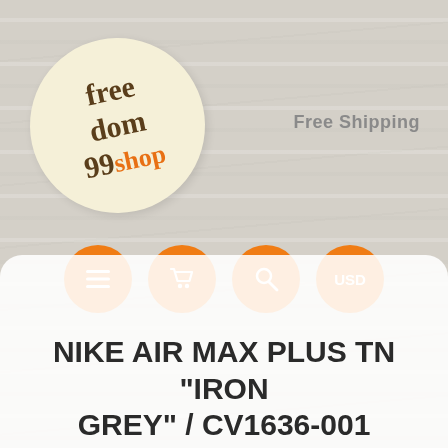[Figure (logo): Freedom99shop logo in a cream/beige circular bubble, rotated slightly, with brown and orange text on a wood-textured grey background]
Free Shipping
[Figure (infographic): Four orange circular navigation buttons in a row: hamburger menu icon, shopping cart icon, search/magnifier icon, and 'USD' text button]
NIKE AIR MAX PLUS TN "IRON GREY" / CV1636-001